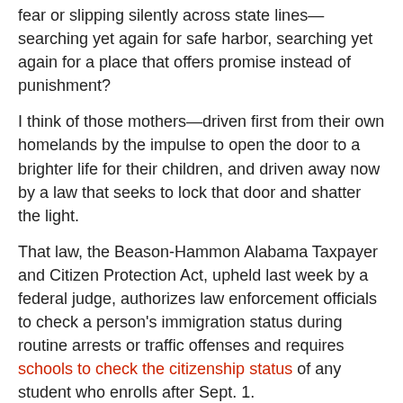fear or slipping silently across state lines—searching yet again for safe harbor, searching yet again for a place that offers promise instead of punishment?
I think of those mothers—driven first from their own homelands by the impulse to open the door to a brighter life for their children, and driven away now by a law that seeks to lock that door and shatter the light.
That law, the Beason-Hammon Alabama Taxpayer and Citizen Protection Act, upheld last week by a federal judge, authorizes law enforcement officials to check a person's immigration status during routine arrests or traffic offenses and requires schools to check the citizenship status of any student who enrolls after Sept. 1.
The day after the ruling, schools were besieged by parents, frightened and crying as they withdrew their children from classes. Hundreds of other children simply did not show up for school.
The Obama administration is appealing the decision, but the